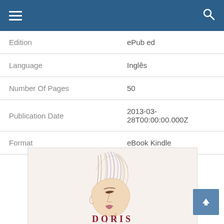Navigation bar with menu and search icons
| Edition | ePub ed |
| Language | Inglês |
| Number Of Pages | 50 |
| Publication Date | 2013-03-28T00:00:00.000Z |
| Format | eBook Kindle |
[Figure (illustration): Book cover showing a colored pencil illustration of a person's face looking upward, with 'DORIS' text at the bottom in red serif letters]